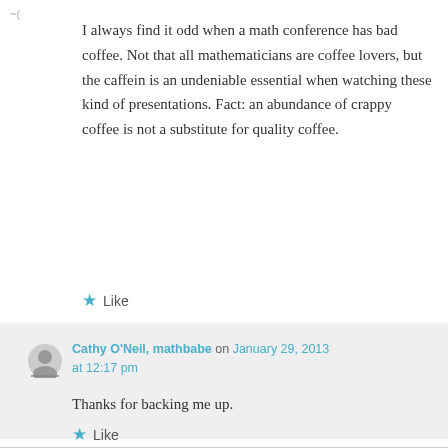[Figure (illustration): Small avatar image in top left corner]
I always find it odd when a math conference has bad coffee. Not that all mathematicians are coffee lovers, but the caffein is an undeniable essential when watching these kind of presentations. Fact: an abundance of crappy coffee is not a substitute for quality coffee.
★ Like
Cathy O'Neil, mathbabe on January 29, 2013 at 12:17 pm
Thanks for backing me up.
★ Like